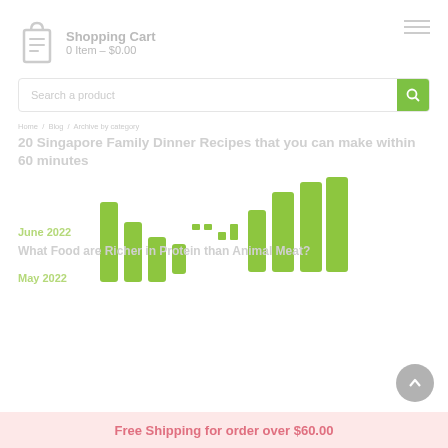Shopping Cart
0 Item – $0.00
Search a product
20 Singapore Family Dinner Recipes that you can make within 60 minutes
June 2022
What Food are Richer in Protein than Animal Meat?
May 2022
[Figure (other): Loading spinner animation shown as green vertical bars of varying heights arranged in a waveform pattern]
Free Shipping for order over $60.00